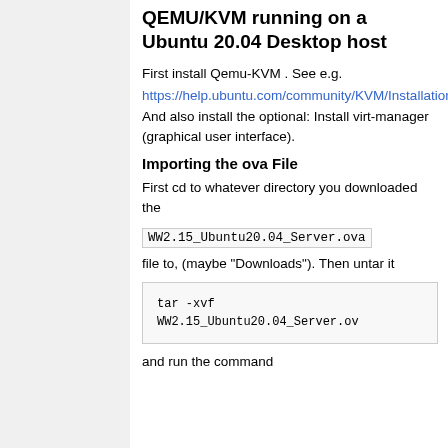QEMU/KVM running on a Ubuntu 20.04 Desktop host
First install Qemu-KVM . See e.g. https://help.ubuntu.com/community/KVM/Installation. And also install the optional: Install virt-manager (graphical user interface).
Importing the ova File
First cd to whatever directory you downloaded the
WW2.15_Ubuntu20.04_Server.ova
file to, (maybe "Downloads"). Then untar it
tar -xvf
WW2.15_Ubuntu20.04_Server.ov
and run the command